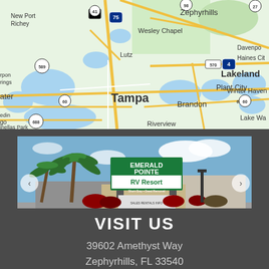[Figure (map): Google Maps screenshot showing the Tampa Bay area of Florida, including Tampa, Zephyrhills, Wesley Chapel, Lutz, Brandon, Riverview, Plant City, Lakeland, Winter Haven, New Port Richey, and surrounding areas with roads and highways including I-75, I-4, US-41, US-98, US-60, FL-570.]
[Figure (photo): Exterior photo of Emerald Pointe RV Resort showing the resort entrance sign with palm trees and landscaping.]
VISIT US
39602 Amethyst Way
Zephyrhills, FL 33540